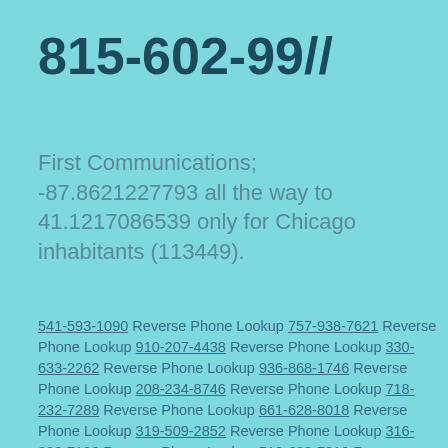815-602-99//
First Communications; -87.8621227793 all the way to 41.1217086539 only for Chicago inhabitants (113449).
541-593-1090 Reverse Phone Lookup 757-938-7621 Reverse Phone Lookup 910-207-4438 Reverse Phone Lookup 330-633-2262 Reverse Phone Lookup 936-868-1746 Reverse Phone Lookup 208-234-8746 Reverse Phone Lookup 718-232-7289 Reverse Phone Lookup 661-628-8018 Reverse Phone Lookup 319-509-2852 Reverse Phone Lookup 316-302-7196 Reverse Phone Lookup 512-628-7319 Reverse Phone Lookup 815-627-6971 Reverse Phone Lookup 209-848-8374 Reverse Phone Lookup 713-475-6072 R...